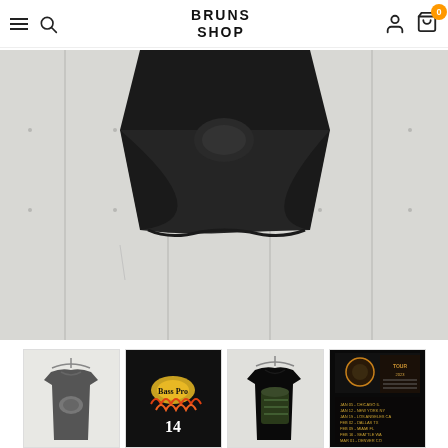BRUNS SHOP — navigation bar with hamburger menu, search, user, and cart (0 items)
[Figure (photo): Close-up of a black t-shirt hung against a white paneled wall, showing the bottom hem of the shirt]
[Figure (photo): Thumbnail 1: Gray t-shirt with graphic print on a hanger]
[Figure (photo): Thumbnail 2: Black t-shirt with Bass Pro Shops/racing graphic, number 14]
[Figure (photo): Thumbnail 3: Black t-shirt with graphic print on a hanger]
[Figure (photo): Thumbnail 4: Black t-shirt with tour dates / graphic print]